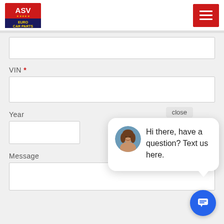[Figure (logo): ASV Euro Car Parts logo with red background and white text, with car graphic]
[Figure (other): Red hamburger menu button with three white horizontal lines]
VIN *
Year
Message
[Figure (other): Chat popup with woman avatar and text: Hi there, have a question? Text us here. With close link and blue chat bubble button.]